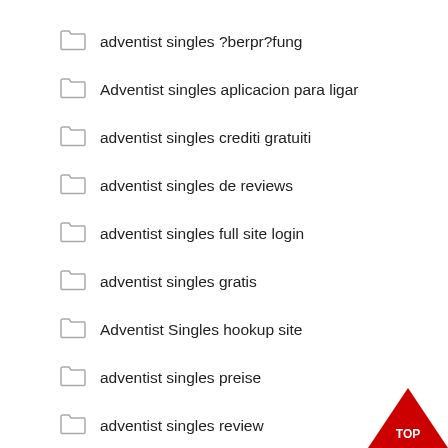adventist singles ?berpr?fung
Adventist singles aplicacion para ligar
adventist singles crediti gratuiti
adventist singles de reviews
adventist singles full site login
adventist singles gratis
Adventist Singles hookup site
adventist singles preise
adventist singles review
adventist singles reviews
adventist singles sign in